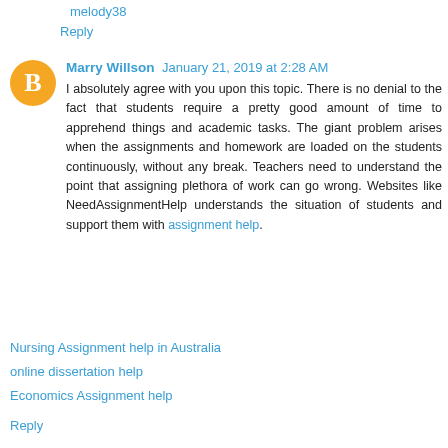melody38
Reply
Marry Willson  January 21, 2019 at 2:28 AM
I absolutely agree with you upon this topic. There is no denial to the fact that students require a pretty good amount of time to apprehend things and academic tasks. The giant problem arises when the assignments and homework are loaded on the students continuously, without any break. Teachers need to understand the point that assigning plethora of work can go wrong. Websites like NeedAssignmentHelp understands the situation of students and support them with assignment help.
Nursing Assignment help in Australia
online dissertation help
Economics Assignment help
Reply